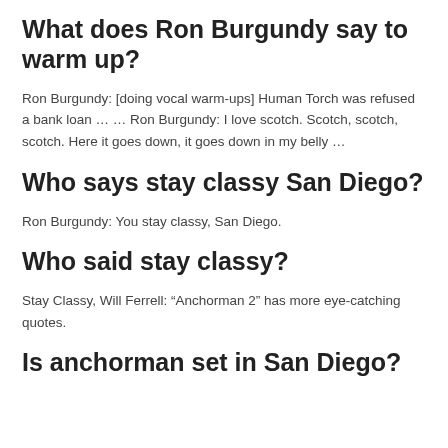Continues (2013). The films were produced by Judd Apatow, directed by Adam McKay and written by McKay and Will Ferrell.
What does Ron Burgundy say to warm up?
Ron Burgundy: [doing vocal warm-ups] Human Torch was refused a bank loan … … Ron Burgundy: I love scotch. Scotch, scotch, scotch. Here it goes down, it goes down in my belly …
Who says stay classy San Diego?
Ron Burgundy: You stay classy, San Diego.
Who said stay classy?
Stay Classy, Will Ferrell: “Anchorman 2” has more eye-catching quotes.
Is anchorman set in San Diego?